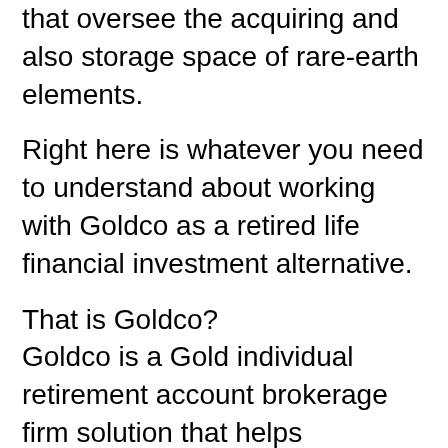that oversee the acquiring and also storage space of rare-earth elements.
Right here is whatever you need to understand about working with Goldco as a retired life financial investment alternative.
That is Goldco?
Goldco is a Gold individual retirement account brokerage firm solution that helps financiers in developing and also handling gold Individual retirement accounts as well as can aid surrender existing IRAs to gold or precious metal individual retirement accounts. When you ultimately want to offer your gold holdings, the company will certainly assist you with this by getting your precious metals from you or offering them on